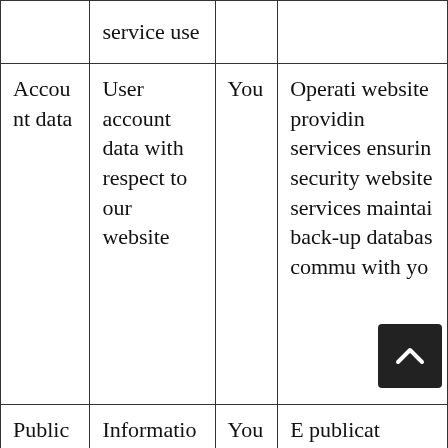|  | service use |  |  |
| --- | --- | --- | --- |
| Account data | User account data with respect to our website | You | Operating website providing services ensuring security website services maintaining back-up database communicating with you |
| Publication data | Information that you | You | Enabling publication |